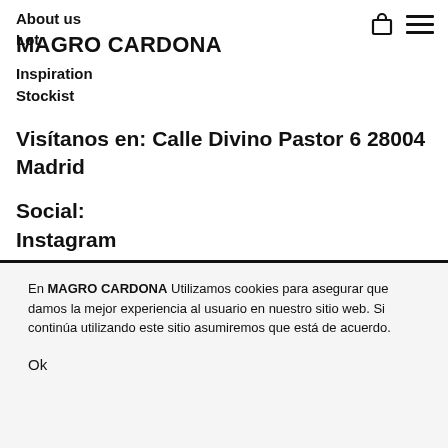About us
Lot
Magro Cardona
Inspiration
Stockist
Visítanos en: Calle Divino Pastor 6 28004 Madrid
Social:
Instagram
Facebook
Pinterest
Other...
En MAGRO CARDONA Utilizamos cookies para asegurar que damos la mejor experiencia al usuario en nuestro sitio web. Si continúa utilizando este sitio asumiremos que está de acuerdo.
Ok